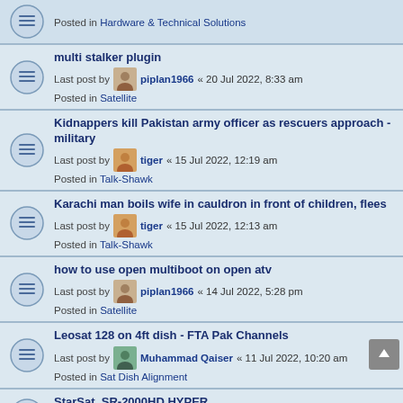Posted in Hardware & Technical Solutions
multi stalker plugin | Last post by piplan1966 « 20 Jul 2022, 8:33 am | Posted in Satellite
Kidnappers kill Pakistan army officer as rescuers approach - military | Last post by tiger « 15 Jul 2022, 12:19 am | Posted in Talk-Shawk
Karachi man boils wife in cauldron in front of children, flees | Last post by tiger « 15 Jul 2022, 12:13 am | Posted in Talk-Shawk
how to use open multiboot on open atv | Last post by piplan1966 « 14 Jul 2022, 5:28 pm | Posted in Satellite
Leosat 128 on 4ft dish - FTA Pak Channels | Last post by Muhammad Qaiser « 11 Jul 2022, 10:20 am | Posted in Sat Dish Alignment
StarSat_SR-2000HD HYPER | Last post by crisi « 08 Jul 2022, 6:50 pm